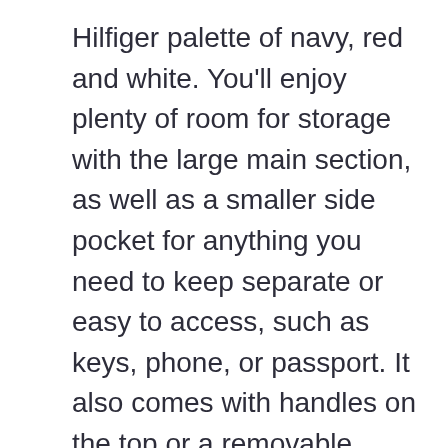Hilfiger palette of navy, red and white. You'll enjoy plenty of room for storage with the large main section, as well as a smaller side pocket for anything you need to keep separate or easy to access, such as keys, phone, or passport. It also comes with handles on the top or a removable shoulder strap. Finally, the thick cotton and nylon material is durable and simple to spot clean.